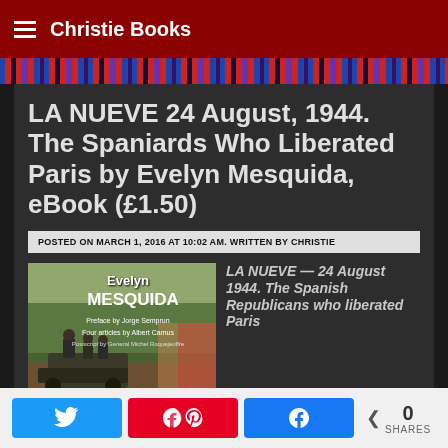Christie Books
LA NUEVE 24 August, 1944. The Spaniards Who Liberated Paris by Evelyn Mesquida, eBook (£1.50)
POSTED ON MARCH 1, 2016 AT 10:02 AM. WRITTEN BY CHRISTIE
[Figure (photo): Book cover of LA NUEVE by Evelyn Mesquida, showing soldiers on military vehicles with text: Evelyn MESQUIDA, Preface by Jorge Semprun, Four articles by Albert Camus, Postscript by General Michel Roquejeoffre]
LA NUEVE — 24 August 1944. The Spanish Republicans who liberated Paris